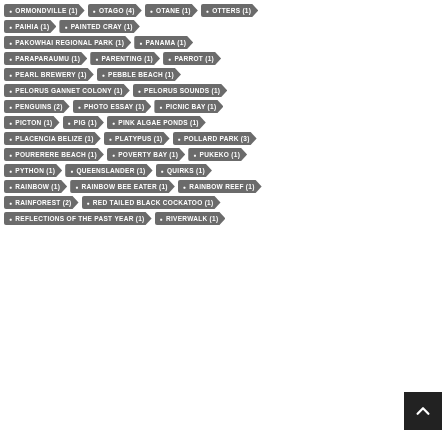ORMONDVILLE (1)
OTAGO (4)
OTANE (1)
OTTERS (1)
PAIHIA (1)
PAINTED CRAY (1)
PAKOWHAI REGIONAL PARK (1)
PANAMA (1)
PARAPARAUMU (1)
PARENTING (1)
PARROT (1)
PEARL BREWERY (1)
PEBBLE BEACH (1)
PELORUS GANNET COLONY (1)
PELORUS SOUNDS (1)
PENGUINS (2)
PHOTO ESSAY (1)
PICNIC BAY (1)
PICTON (1)
PIG (1)
PINK ALGAE PONDS (1)
PLACENCIA BELIZE (1)
PLATYPUS (1)
POLLARD PARK (3)
POURERERE BEACH (1)
POVERTY BAY (1)
PUKEKO (1)
PYTHON (1)
QUEENSLANDER (1)
QUIRKS (1)
RAINBOW (1)
RAINBOW BEE EATER (1)
RAINBOW REEF (1)
RAINFOREST (2)
RED TAILED BLACK COCKATOO (1)
REFLECTIONS OF THE PAST YEAR (1)
RIVERWALK (1)